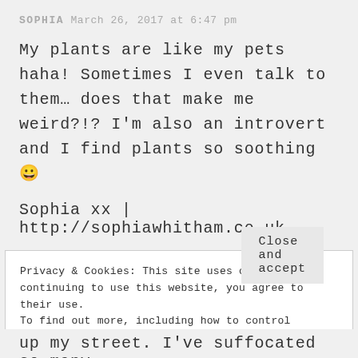SOPHIA March 26, 2017 at 6:47 pm
My plants are like my pets haha! Sometimes I even talk to them… does that make me weird?!? I'm also an introvert and I find plants so soothing 😀
Sophia xx | http://sophiawhitham.co.uk
REPLY
Privacy & Cookies: This site uses cookies. By continuing to use this website, you agree to their use.
To find out more, including how to control cookies, see here: Cookie Policy
Close and accept
up my street. I've suffocated so many